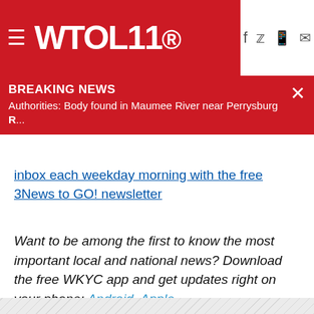WTOL 11
BREAKING NEWS
Authorities: Body found in Maumee River near Perrysburg R...
inbox each weekday morning with the free 3News to GO! newsletter
Want to be among the first to know the most important local and national news? Download the free WKYC app and get updates right on your phone: Android, Apple.